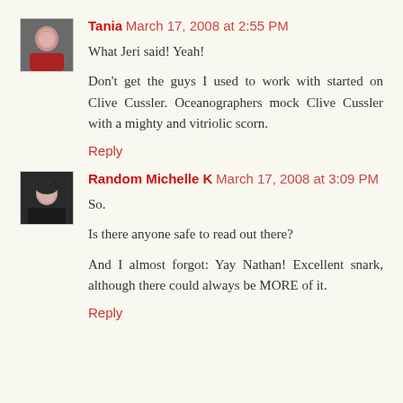[Figure (photo): Avatar photo of Tania, woman with dark hair]
Tania March 17, 2008 at 2:55 PM
What Jeri said! Yeah!
Don't get the guys I used to work with started on Clive Cussler. Oceanographers mock Clive Cussler with a mighty and vitriolic scorn.
Reply
[Figure (photo): Avatar photo of Random Michelle K, woman with dark hair]
Random Michelle K March 17, 2008 at 3:09 PM
So.
Is there anyone safe to read out there?
And I almost forgot: Yay Nathan! Excellent snark, although there could always be MORE of it.
Reply